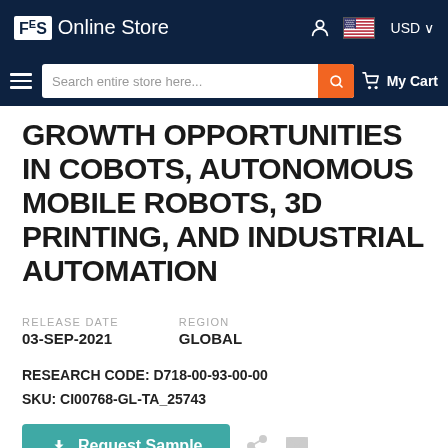F&S Online Store — USD
GROWTH OPPORTUNITIES IN COBOTS, AUTONOMOUS MOBILE ROBOTS, 3D PRINTING, AND INDUSTRIAL AUTOMATION
RELEASE DATE
03-SEP-2021
REGION
GLOBAL
RESEARCH CODE: D718-00-93-00-00
SKU: CI00768-GL-TA_25743
Request Sample